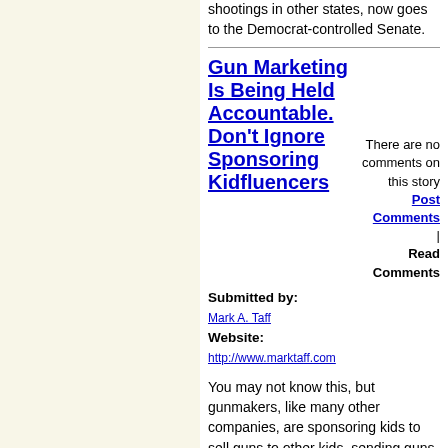shootings in other states, now goes to the Democrat-controlled Senate.
Gun Marketing Is Being Held Accountable. Don't Ignore Sponsoring Kidfluencers
There are no comments on this story
Post Comments | Read Comments
Submitted by: Mark A. Taff
Website: http://www.marktaff.com
You may not know this, but gunmakers, like many other companies, are sponsoring kids to sell guns to other kids, sending guns as gifts to "youth shooters" who shoot them in YouTube or Instagram videos, or wear brand logos on their sleeves, as their parents might have sported a local plumber on their Little League